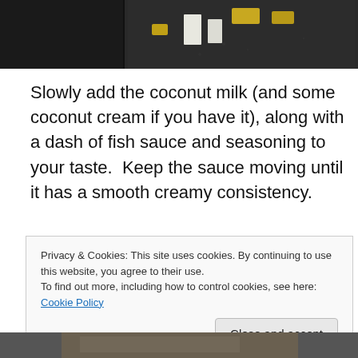[Figure (photo): Top portion of a food photo showing chopped ingredients (white cubes, yellow pieces) on a dark surface]
Slowly add the coconut milk (and some coconut cream if you have it), along with a dash of fish sauce and seasoning to your taste.  Keep the sauce moving until it has a smooth creamy consistency.
[Figure (photo): A dark skillet/pan with a bubbling creamy brown sauce, viewed from above]
Privacy & Cookies: This site uses cookies. By continuing to use this website, you agree to their use.
To find out more, including how to control cookies, see here: Cookie Policy
Close and accept
[Figure (photo): Bottom sliver of another food photo, barely visible at the bottom of the page]